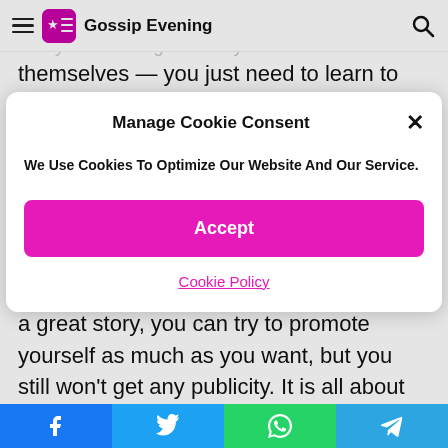Gossip Evening
elliance or trying to make a difference — everyone has a great story within themselves — you just need to learn to share and communicate it effectively.
Manage Cookie Consent
We Use Cookies To Optimize Our Website And Our Service.
Accept
Cookie Policy
a great story, you can try to promote yourself as much as you want, but you still won't get any publicity. It is all about sharing your story and what you can give to your audience from your life lessons.